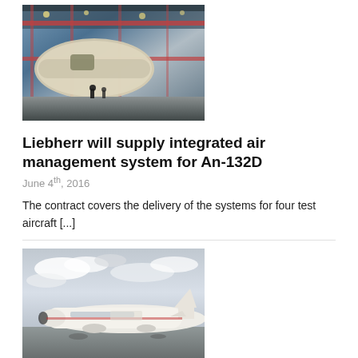[Figure (photo): Aircraft manufacturing facility interior with aircraft fuselage under construction, scaffolding and workers visible]
Liebherr will supply integrated air management system for An-132D
June 4th, 2016
The contract covers the delivery of the systems for four test aircraft [...]
[Figure (photo): Commercial aircraft on tarmac under cloudy sky, side view showing tail section and fuselage]